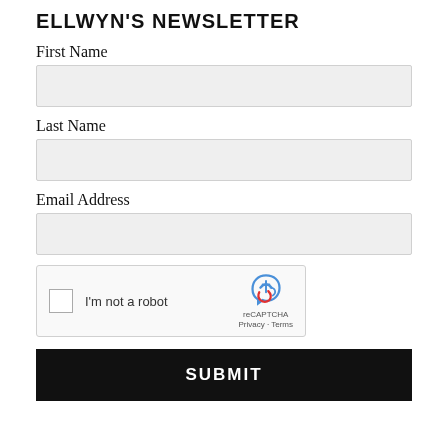ELLWYN'S NEWSLETTER
First Name
Last Name
Email Address
[Figure (other): reCAPTCHA widget with checkbox labeled 'I'm not a robot' and reCAPTCHA logo with Privacy and Terms links]
SUBMIT